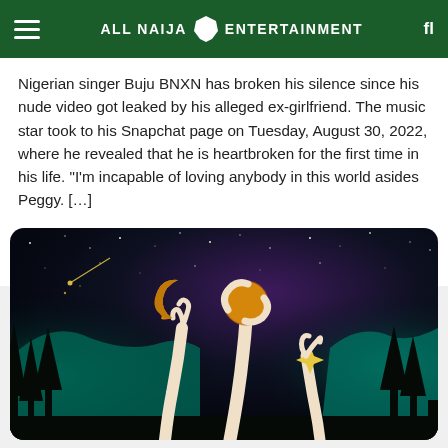ALL NAIJA ENTERTAINMENT
Nigerian singer Buju BNXN has broken his silence since his nude video got leaked by his alleged ex-girlfriend. The music star took to his Snapchat page on Tuesday, August 30, 2022, where he revealed that he is heartbroken for the first time in his life. “I’m incapable of loving anybody in this world asides Peggy. […]
All Naija Entertainment
10 min
[Figure (illustration): Illustration of three elongated hands reaching upward holding celestial objects (a crescent moon, a sphere/sun, and a four-pointed star) against a dark starry night sky with teal mountains and silhouetted trees in the background.]